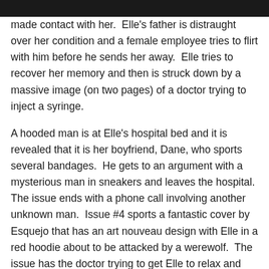made contact with her.  Elle's father is distraught over her condition and a female employee tries to flirt with him before he sends her away.  Elle tries to recover her memory and then is struck down by a massive image (on two pages) of a doctor trying to inject a syringe.
A hooded man is at Elle's hospital bed and it is revealed that it is her boyfriend, Dane, who sports several bandages.  He gets to an argument with a mysterious man in sneakers and leaves the hospital.  The issue ends with a phone call involving another unknown man.  Issue #4 sports a fantastic cover by Esquejo that has an art nouveau design with Elle in a red hoodie about to be attacked by a werewolf.  The issue has the doctor trying to get Elle to relax and